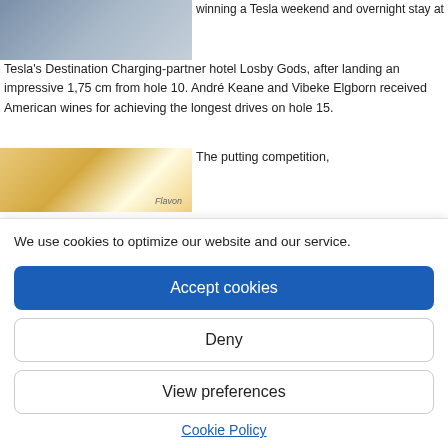[Figure (photo): Photo of people at a golf event, partially visible at top left]
winning a Tesla weekend and overnight stay at Tesla's Destination Charging-partner hotel Losby Gods, after landing an impressive 1,75 cm from hole 10. André Keane and Vibeke Elgborn received American wines for achieving the longest drives on hole 15.
[Figure (photo): Photo of an indoor venue or hotel lobby with warm lighting, Flavon logo visible]
The putting competition,
We use cookies to optimize our website and our service.
Accept cookies
Deny
View preferences
Cookie Policy